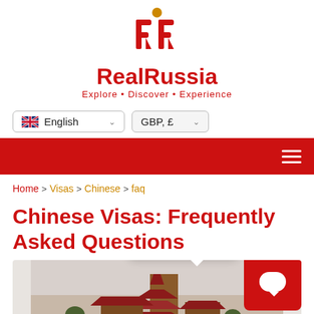[Figure (logo): RealRussia logo with stylized RR icon, text 'RealRussia' in red, tagline 'Explore • Discover • Experience' in red]
English (language selector dropdown) | GBP, £ (currency selector dropdown)
[Figure (other): Red navigation bar with hamburger menu icon on the right]
Home > Visas > Chinese > faq
Chinese Visas: Frequently Asked Questions
[Figure (photo): Photo of Chinese temple/pagoda architecture with red roofs against a hazy sky, with a chat widget overlay showing 'Hi. Need any help?' speech bubble and red chat button]